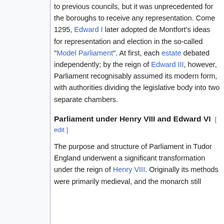to previous councils, but it was unprecedented for the boroughs to receive any representation. Come 1295, Edward I later adopted de Montfort's ideas for representation and election in the so-called "Model Parliament". At first, each estate debated independently; by the reign of Edward III, however, Parliament recognisably assumed its modern form, with authorities dividing the legislative body into two separate chambers.
Parliament under Henry VIII and Edward VI [edit]
The purpose and structure of Parliament in Tudor England underwent a significant transformation under the reign of Henry VIII. Originally its methods were primarily medieval, and the monarch still